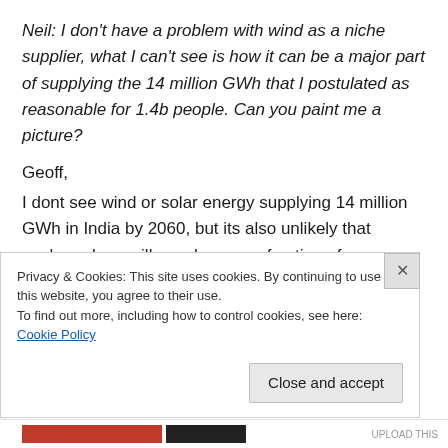Neil: I don't have a problem with wind as a niche supplier, what I can't see is how it can be a major part of supplying the 14 million GWh that I postulated as reasonable for 1.4b people. Can you paint me a picture?
Geoff,
I dont see wind or solar energy supplying 14 million GWh in India by 2060, but its also unlikely that nuclear alone will supply even a fraction of
Privacy & Cookies: This site uses cookies. By continuing to use this website, you agree to their use.
To find out more, including how to control cookies, see here: Cookie Policy
Close and accept